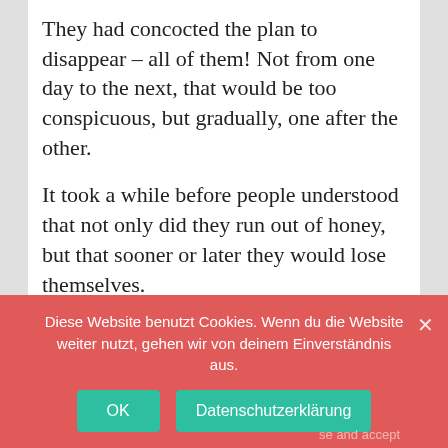They had concocted the plan to disappear – all of them! Not from one day to the next, that would be too conspicuous, but gradually, one after the other.
It took a while before people understood that not only did they run out of honey, but that sooner or later they would lose themselves.
Finally, the insects' plan worked out
In the last 100 years, people had changed a lot.
The motto now was no longer higher-faster-
Privacy & Cookies: This site uses cookies. By continuing to use this website, you agree to their use.
To find out more, including how to control cookies, see here: Cookie Policy
Diese Website benutzt Cookies. Wenn du die Website weiter nutzt, gehen wir von deinem Einverständnis aus.
OK
Datenschutzerklärung
se and accept